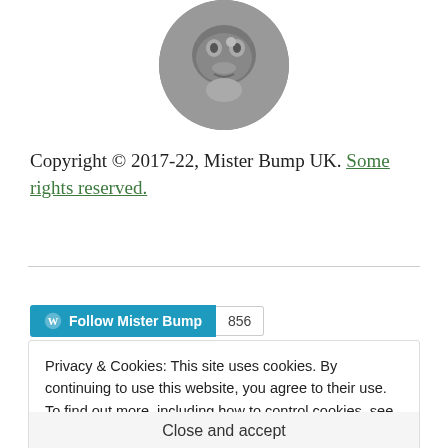[Figure (photo): Circular cropped black and white profile photo of a creature/sculpture face]
Copyright © 2017-22, Mister Bump UK. Some rights reserved.
Follow Mister Bump  856
Privacy & Cookies: This site uses cookies. By continuing to use this website, you agree to their use.
To find out more, including how to control cookies, see here: Cookie Policy
Close and accept